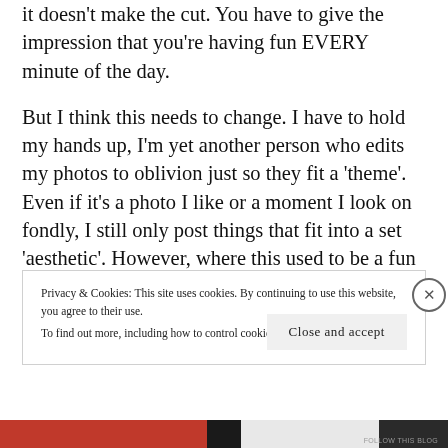it doesn't make the cut. You have to give the impression that you're having fun EVERY minute of the day.
But I think this needs to change. I have to hold my hands up, I'm yet another person who edits my photos to oblivion just so they fit a 'theme'. Even if it's a photo I like or a moment I look on fondly, I still only post things that fit into a set 'aesthetic'. However, where this used to be a fun
Privacy & Cookies: This site uses cookies. By continuing to use this website, you agree to their use.
To find out more, including how to control cookies, see here: Cookie Policy